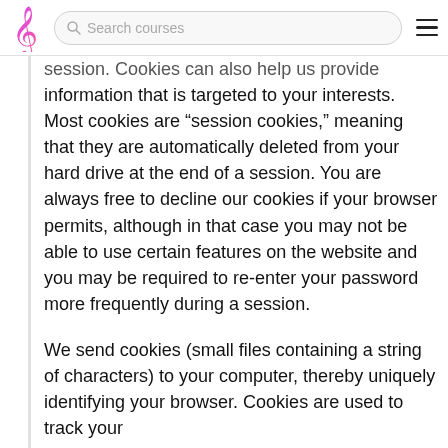Search courses
session. Cookies can also help us provide information that is targeted to your interests. Most cookies are "session cookies," meaning that they are automatically deleted from your hard drive at the end of a session. You are always free to decline our cookies if your browser permits, although in that case you may not be able to use certain features on the website and you may be required to re-enter your password more frequently during a session.

We send cookies (small files containing a string of characters) to your computer, thereby uniquely identifying your browser. Cookies are used to track your